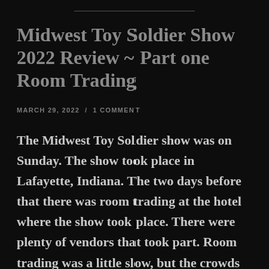Midwest Toy Soldier Show 2022 Review ~ Part one Room Trading
MARCH 29, 2022  /  1 COMMENT
The Midwest Toy Soldier show was on Sunday. The show took place in Lafayette, Indiana. The two days before that there was room trading at the hotel where the show took place. There were plenty of vendors that took part. Room trading was a little slow, but the crowds showed up for the show. In today's post I will discuss the